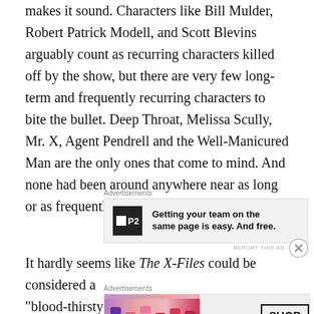makes it sound. Characters like Bill Mulder, Robert Patrick Modell, and Scott Blevins arguably count as recurring characters killed off by the show, but there are very few long-term and frequently recurring characters to bite the bullet. Deep Throat, Melissa Scully, Mr. X, Agent Pendrell and the Well-Manicured Man are the only ones that come to mind. And none had been around anywhere near as long or as frequently as Skinner.
[Figure (other): Advertisement banner for P2 project management tool with text: Getting your team on the same page is easy. And free.]
It hardly seems like The X-Files could be considered a “blood-thirsty” show by any reasonable standard. In fact
[Figure (other): Advertisement banner for MAC cosmetics showing lipsticks with SHOP NOW button]